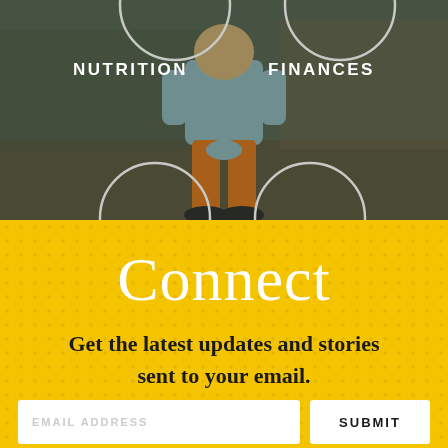[Figure (photo): Photo of a person sitting, wearing orange pants and light blue top, against a weathered stone/concrete wall background. White circle outlines partially visible at top and bottom of the image.]
NUTRITION   FINANCES
Connect
Get the latest updates and stories sent to your email.
EMAIL ADDRESS
SUBMIT